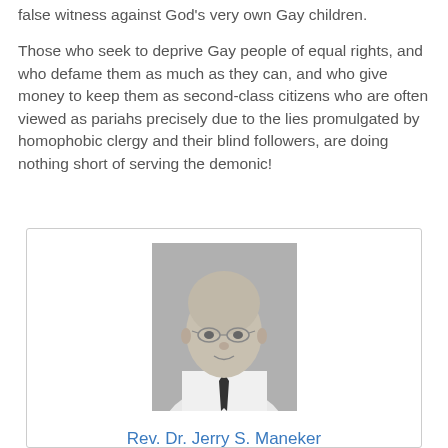false witness against God's very own Gay children.
Those who seek to deprive Gay people of equal rights, and who defame them as much as they can, and who give money to keep them as second-class citizens who are often viewed as pariahs precisely due to the lies promulgated by homophobic clergy and their blind followers, are doing nothing short of serving the demonic!
[Figure (photo): Black and white portrait photo of Rev. Dr. Jerry S. Maneker, a bald man wearing glasses and a white shirt with a dark tie, shown from the shoulders up.]
Rev. Dr. Jerry S. Maneker
Professor Emeritus of Sociology at California State